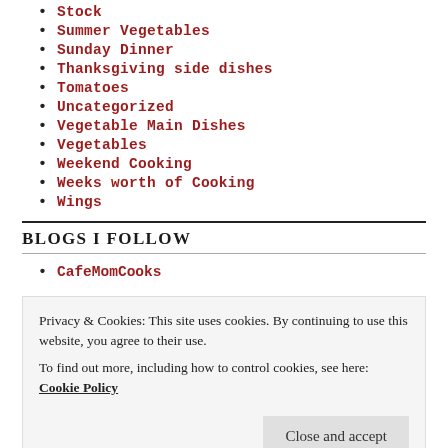Stock
Summer Vegetables
Sunday Dinner
Thanksgiving side dishes
Tomatoes
Uncategorized
Vegetable Main Dishes
Vegetables
Weekend Cooking
Weeks worth of Cooking
Wings
BLOGS I FOLLOW
CafeMomCooks
Privacy & Cookies: This site uses cookies. By continuing to use this website, you agree to their use.
To find out more, including how to control cookies, see here: Cookie Policy
Close and accept